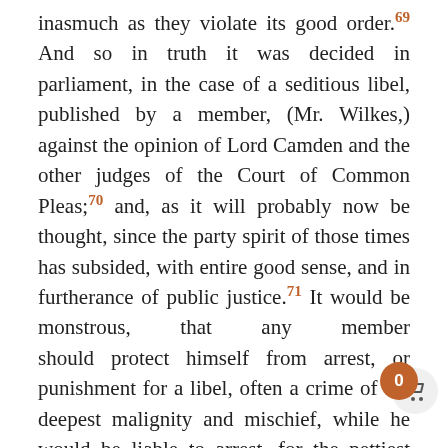inasmuch as they violate its good order.69 And so in truth it was decided in parliament, in the case of a seditious libel, published by a member, (Mr. Wilkes,) against the opinion of Lord Camden and the other judges of the Court of Common Pleas;70 and, as it will probably now be thought, since the party spirit of those times has subsided, with entire good sense, and in furtherance of public justice.71 It would be monstrous, that any member should protect himself from arrest, or punishment for a libel, often a crime of the deepest malignity and mischief, while he would be liable to arrest, for the pettiest assault, or the most insignificant breach of the peace.
§ 863. The next great and vital privilege is the freedom of speech and debate, without which all